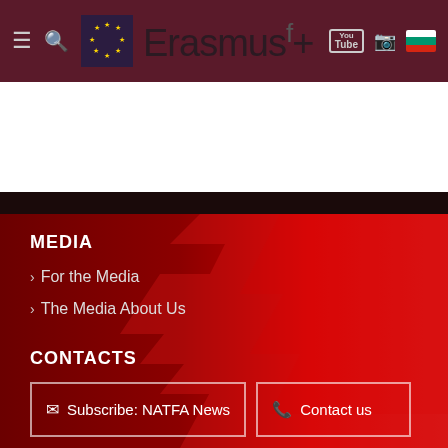Erasmus+ [navigation with hamburger menu, search, Facebook, YouTube, Instagram, Bulgarian flag icons]
MEDIA
› For the Media
› The Media About Us
CONTACTS
Subscribe: NATFA News
Contact us